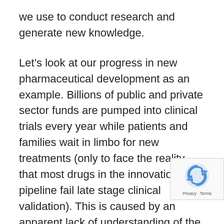we use to conduct research and generate new knowledge.
Let’s look at our progress in new pharmaceutical development as an example. Billions of public and private sector funds are pumped into clinical trials every year while patients and families wait in limbo for new treatments (only to face the reality that most drugs in the innovation pipeline fail late stage clinical validation). This is caused by an apparent lack of understanding of the biological context of disease in early preclinical drug development and also a lack of consideration of the clinical heterogeneity that is inherent in many diseases. It might seem illogical that we are aiming to manipulate the intricate mechanisms of disease at